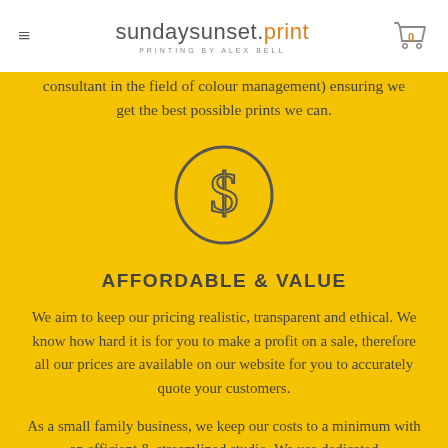sundaysunset.print — PRINTING BY ALEX BELL
consultant in the field of colour management) ensuring we get the best possible prints we can.
[Figure (illustration): Dollar sign ($) inside a circle icon, grey outline on yellow background]
AFFORDABLE & VALUE
We aim to keep our pricing realistic, transparent and ethical. We know how hard it is for you to make a profit on a sale, therefore all our prices are available on our website for you to accurately quote your customers.
As a small family business, we keep our costs to a minimum with an efficient & streamlined studio. We use dedicated manufacturing software to manage your order through the